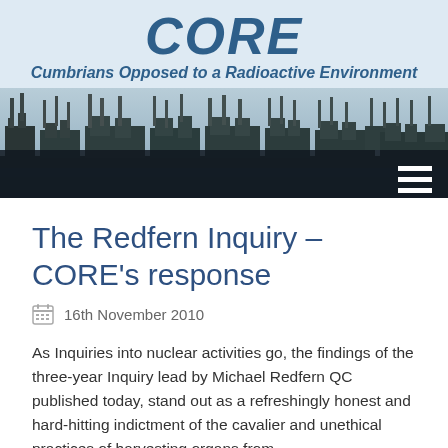CORE
Cumbrians Opposed to a Radioactive Environment
[Figure (photo): Black and white industrial skyline of a nuclear facility with multiple chimneys and large buildings along a waterfront]
The Redfern Inquiry – CORE's response
16th November 2010
As Inquiries into nuclear activities go, the findings of the three-year Inquiry lead by Michael Redfern QC published today, stand out as a refreshingly honest and hard-hitting indictment of the cavalier and unethical practices of harvesting organs from